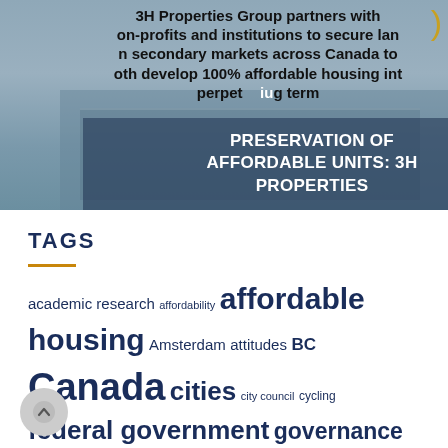[Figure (photo): Hero image of a building with overlaid text reading: '3H Properties Group partners with non-profits and institutions to secure land in secondary markets across Canada to both develop 100% affordable housing in perpetuity and g term'. Below that is a dark overlay box with white text reading 'PRESERVATION OF AFFORDABLE UNITS: 3H PROPERTIES'.]
TAGS
academic research affordability affordable housing Amsterdam attitudes BC Canada cities city council cycling federal government governance Halifax health homeownership Housing Immigration inequities infrastructure